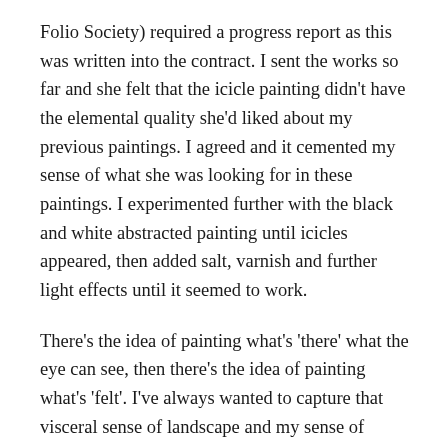Folio Society) required a progress report as this was written into the contract. I sent the works so far and she felt that the icicle painting didn't have the elemental quality she'd liked about my previous paintings. I agreed and it cemented my sense of what she was looking for in these paintings. I experimented further with the black and white abstracted painting until icicles appeared, then added salt, varnish and further light effects until it seemed to work.
There's the idea of painting what's 'there' what the eye can see, then there's the idea of painting what's 'felt'. I've always wanted to capture that visceral sense of landscape and my sense of Scottish landscape, particularly mountainous landscape, is that fear (though it might be fear and exhilaration) is quite often an element of that experience. Where my first ice painting had showed the beauty of natural ice forms, it had no feeling of ice. I thought the second version gave more a sense of the icy grip of winter.